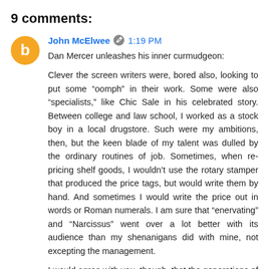9 comments:
John McElwee  1:19 PM
Dan Mercer unleashes his inner curmudgeon:

Clever the screen writers were, bored also, looking to put some “oomph” in their work. Some were also “specialists,” like Chic Sale in his celebrated story. Between college and law school, I worked as a stock boy in a local drugstore. Such were my ambitions, then, but the keen blade of my talent was dulled by the ordinary routines of job. Sometimes, when re-pricing shelf goods, I wouldn’t use the rotary stamper that produced the price tags, but would write them by hand. And sometimes I would write the price out in words or Roman numerals. I am sure that “enervating” and “Narcissus” went over a lot better with its audience than my shenanigans did with mine, not excepting the management.

I would agree with you, though, that the generations of the mediocre were casualties, thrown away...